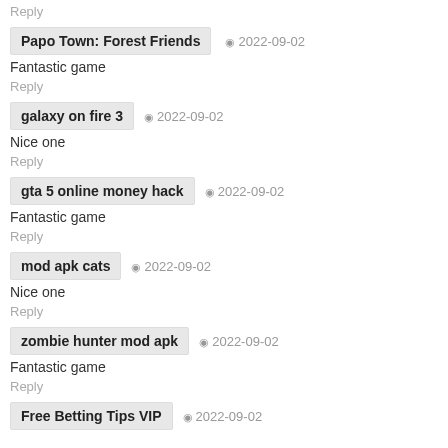Reply
Papo Town: Forest Friends  2022-09-02
Fantastic game
Reply
galaxy on fire 3  2022-09-02
Nice one
Reply
gta 5 online money hack  2022-09-02
Fantastic game
Reply
mod apk cats  2022-09-02
Nice one
Reply
zombie hunter mod apk  2022-09-02
Fantastic game
Reply
Free Betting Tips VIP  2022-09-02